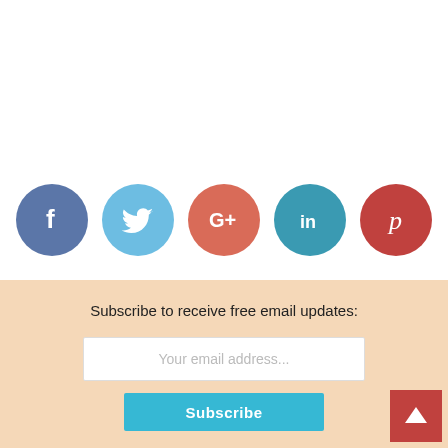[Figure (infographic): Five social media icon circles in a row: Facebook (blue-grey), Twitter (light blue), Google+ (salmon/red), LinkedIn (teal), Pinterest (dark red)]
Subscribe to receive free email updates:
[Figure (other): Email input field with placeholder text 'Your email address...' and a teal Subscribe button below]